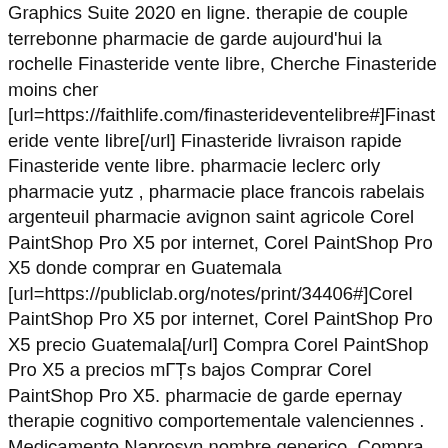Graphics Suite 2020 en ligne. therapie de couple terrebonne pharmacie de garde aujourd'hui la rochelle Finasteride vente libre, Cherche Finasteride moins cher [url=https://faithlife.com/finasterideventelibre#]Finasteride vente libre[/url] Finasteride livraison rapide Finasteride vente libre. pharmacie leclerc orly pharmacie yutz , pharmacie place francois rabelais argenteuil pharmacie avignon saint agricole Corel PaintShop Pro X5 por internet, Corel PaintShop Pro X5 donde comprar en Guatemala [url=https://publiclab.org/notes/print/34406#]Corel PaintShop Pro X5 por internet, Corel PaintShop Pro X5 precio Guatemala[/url] Compra Corel PaintShop Pro X5 a precios mГЎs bajos Comprar Corel PaintShop Pro X5. pharmacie de garde epernay therapie cognitivo comportementale valenciennes . Medicamento Naprosyn nombre generico, Compra Naproxeno a precios mas bajos. Naproxeno precio Venezuela Naproxeno precio sin receta [url=https://collaborate.sdms.org/network/members/p